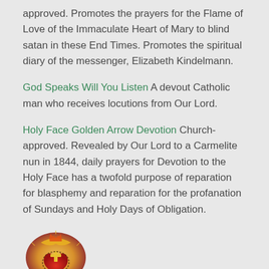approved. Promotes the prayers for the Flame of Love of the Immaculate Heart of Mary to blind satan in these End Times. Promotes the spiritual diary of the messenger, Elizabeth Kindelmann.
God Speaks Will You Listen A devout Catholic man who receives locutions from Our Lord.
Holy Face Golden Arrow Devotion Church-approved. Revealed by Our Lord to a Carmelite nun in 1844, daily prayers for Devotion to the Holy Face has a twofold purpose of reparation for blasphemy and reparation for the profanation of Sundays and Holy Days of Obligation.
[Figure (illustration): Religious illustration showing a sacred heart or devotional image with red and gold coloring at the bottom of the page]